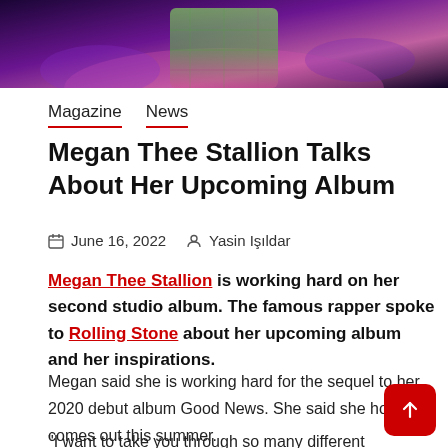[Figure (photo): Megan Thee Stallion performing on stage with green outfit and colorful stage lighting (purple, pink)]
Magazine   News
Megan Thee Stallion Talks About Her Upcoming Album
June 16, 2022   Yasin Işıldar
Megan Thee Stallion is working hard on her second studio album. The famous rapper spoke to Rolling Stone about her upcoming album and her inspirations.
Megan said she is working hard for the sequel to her 2020 debut album Good News. She said she hopes it comes out this summer.
"I want to take you through so many different emotions,"